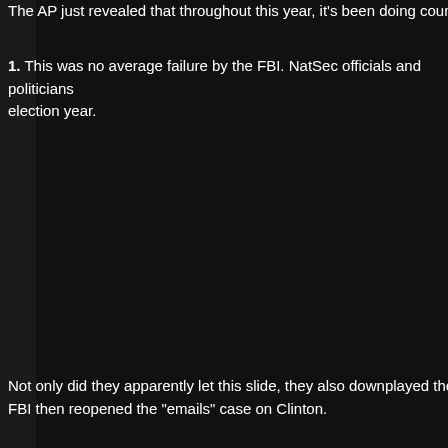The AP just revealed that throughout this year, it's been doing counternu...
1. This was no average failure by the FBI. NatSec officials and politicians... election year.
Not only did they apparently let this slide, they also downplayed the risk f... FBI then reopened the "emails" case on Clinton.